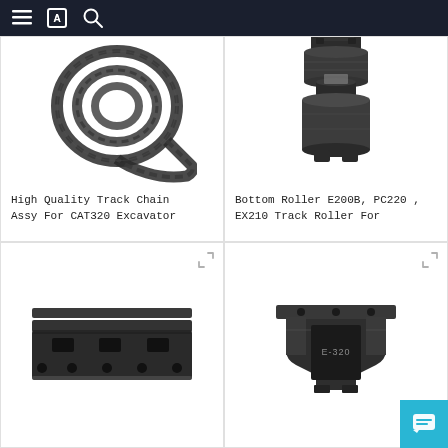≡ [icon] 🔍
[Figure (photo): Coiled track chain assembly for CAT320 excavator, black metal chain links rolled up]
High Quality Track Chain Assy For CAT320 Excavator
[Figure (photo): Bottom roller / track roller for E200B, PC220, EX210 excavator, cylindrical black metal roller with mounting flange on top]
Bottom Roller E200B, PC220 , EX210 Track Roller For
[Figure (photo): Track shoe / grouser pad for excavator, black steel plate with rectangular holes and mounting slots]
[Figure (photo): Excavator E-320 bucket tooth or track link bracket, dark grey metal casting with E-320 marking]